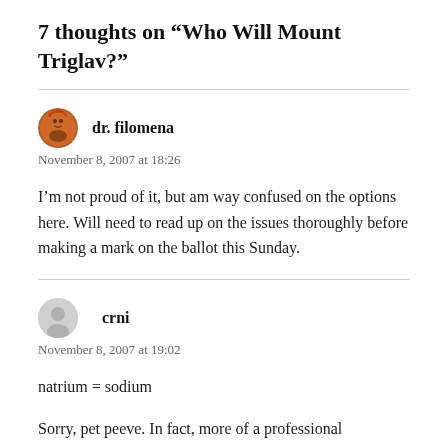7 thoughts on “Who Will Mount Triglav?”
dr. filomena
November 8, 2007 at 18:26
I’m not proud of it, but am way confused on the options here. Will need to read up on the issues thoroughly before making a mark on the ballot this Sunday.
crni
November 8, 2007 at 19:02
natrium = sodium
Sorry, pet peeve. In fact, more of a professional